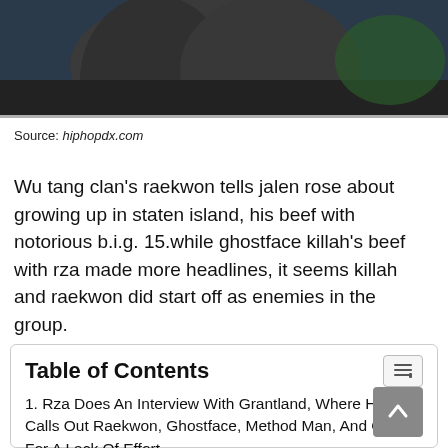[Figure (photo): Photo of people, dark background, partially visible figures]
Source: hiphopdx.com
Wu tang clan's raekwon tells jalen rose about growing up in staten island, his beef with notorious b.i.g. 15.while ghostface killah's beef with rza made more headlines, it seems killah and raekwon did start off as enemies in the group.
Table of Contents
1. Rza Does An Interview With Grantland, Where He Calls Out Raekwon, Ghostface, Method Man, And Gza For A Lack Of Effort.
2. Interestingly, The Two Went To The Same Middle School Together In Staten Island.